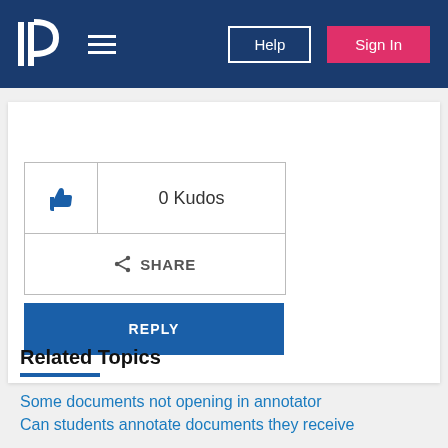Pearson Help | Sign In
[Figure (screenshot): Kudos button showing 0 Kudos with thumbs up icon, Share button, and Reply button]
Related Topics
Some documents not opening in annotator
Can students annotate documents they receive